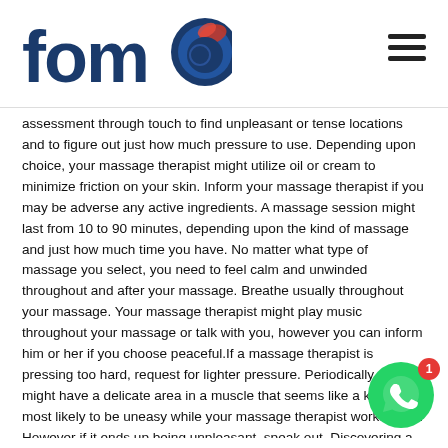[Figure (logo): fomo logo with stylized circular icon in red/orange/dark blue tones, text 'fomo' in dark blue bold font]
[Figure (other): Hamburger menu icon (three horizontal lines) in top right corner]
assessment through touch to find unpleasant or tense locations and to figure out just how much pressure to use. Depending upon choice, your massage therapist might utilize oil or cream to minimize friction on your skin. Inform your massage therapist if you may be adverse any active ingredients. A massage session might last from 10 to 90 minutes, depending upon the kind of massage and just how much time you have. No matter what type of massage you select, you need to feel calm and unwinded throughout and after your massage. Breathe usually throughout your massage. Your massage therapist might play music throughout your massage or talk with you, however you can inform him or her if you choose peaceful.If a massage therapist is pressing too hard, request for lighter pressure. Periodically you might have a delicate area in a muscle that seems like a knot. It's most likely to be uneasy while your massage therapist works it out. However if it ends up being unpleasant, speak out. Discovering a massage therapist Ask your physician or somebody else you trust for a suggestion. Many state control massage therapists through licensing, registration or accreditation requirements.
[Figure (other): WhatsApp floating button (green circle with phone icon) with red notification badge showing '1']